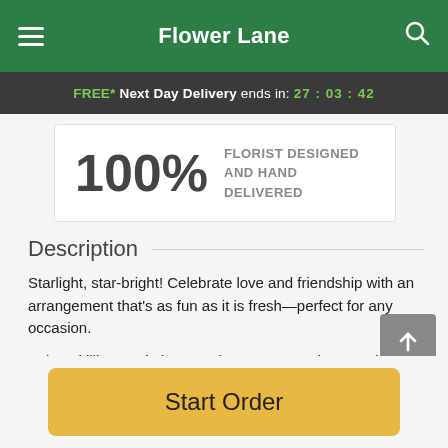Flower Lane
FREE* Next Day Delivery ends in: 27:03:42
100% FLORIST DESIGNED AND HAND DELIVERED
Description
Starlight, star-bright! Celebrate love and friendship with an arrangement that's as fun as it is fresh—perfect for any occasion.
Oriental lilies, godetia, snapdragons, carnations, and chrysanthemums are delicately arranged in a basket with
Start Order